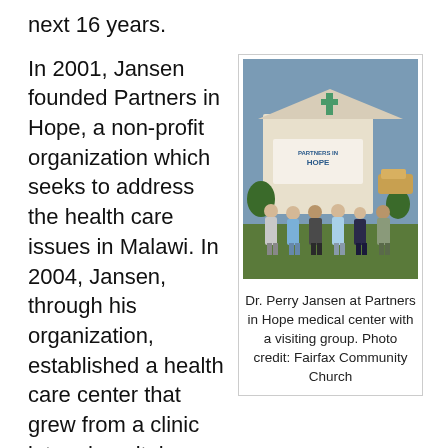next 16 years.
In 2001, Jansen founded Partners in Hope, a non-profit organization which seeks to address the health care issues in Malawi. In 2004, Jansen, through his organization, established a health care center that grew from a clinic into a hospital. He worked with the Malawian government, USAID, and other entities to establish the healthcare facility as well as an effective distribution of HIV medications (anti-retroviral) treatment drugs to the poor. In 2003, less than 2000 patients were able to receive these meds. By 2014,
[Figure (photo): Group photo of Dr. Perry Jansen and visitors standing in front of Partners in Hope medical center sign outdoors]
Dr. Perry Jansen at Partners in Hope medical center with a visiting group. Photo credit: Fairfax Community Church